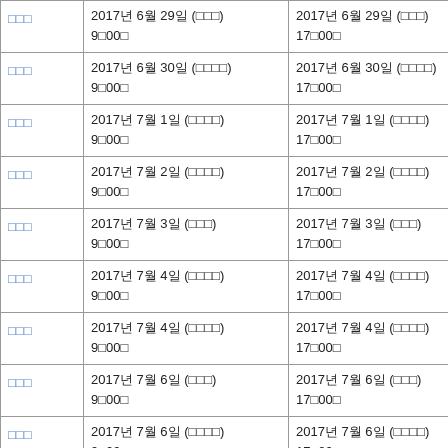| □□□ | 2017년 6월 29일 (□□□)
9□00□ | 2017년 6월 29일 (□□□)
17□00□ |
| □□□ | 2017년 6월 30일 (□□□□)
9□00□ | 2017년 6월 30일 (□□□□)
17□00□ |
| □□□ | 2017년 7월 1일 (□□□□)
9□00□ | 2017년 7월 1일 (□□□□)
17□00□ |
| □□□ | 2017년 7월 2일 (□□□□)
9□00□ | 2017년 7월 2일 (□□□□)
17□00□ |
| □□□ | 2017년 7월 3일 (□□□)
9□00□ | 2017년 7월 3일 (□□□)
17□00□ |
| □□□ | 2017년 7월 4일 (□□□□)
9□00□ | 2017년 7월 4일 (□□□□)
17□00□ |
| □□□ | 2017년 7월 4일 (□□□□)
9□00□ | 2017년 7월 4일 (□□□□)
17□00□ |
| □□□ | 2017년 7월 6일 (□□□)
9□00□ | 2017년 7월 6일 (□□□)
17□00□ |
| □□□ | 2017년 7월 6일 (□□□□)
9□00□ | 2017년 7월 6일 (□□□□)
17□00□ |
| □□□ | 2017년 7월 7일 (□□□□)
9□00□ | 2017년 7월 7일 (□□□□)
17□00□ |
| □□□ | 2017년 7월 8일 (□□□) | 2017년 7월 8일 (□□□) |